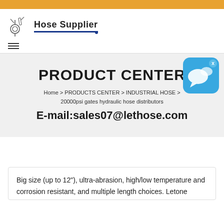[Figure (logo): Hose Supplier logo with industrial hose/valve icon and brand name 'Hose Supplier' with blue underline]
PRODUCT CENTER
Home > PRODUCTS CENTER > INDUSTRIAL HOSE > 20000psi gates hydraulic hose distributors
E-mail:sales07@lethose.com
[Figure (other): Blue rounded chat widget icon with speech bubble in top-right corner with X close button]
Big size (up to 12"), ultra-abrasion, high/low temperature and corrosion resistant, and multiple length choices. Letone